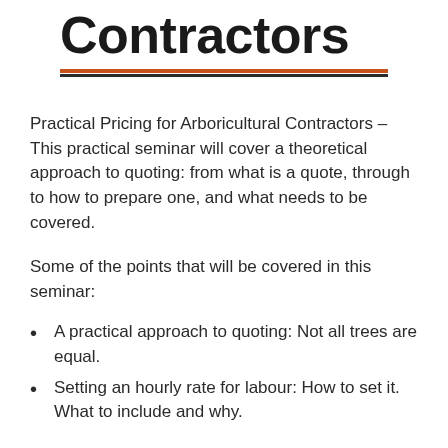Contractors
Practical Pricing for Arboricultural Contractors – This practical seminar will cover a theoretical approach to quoting: from what is a quote, through to how to prepare one, and what needs to be covered.
Some of the points that will be covered in this seminar:
A practical approach to quoting: Not all trees are equal.
Setting an hourly rate for labour: How to set it. What to include and why.